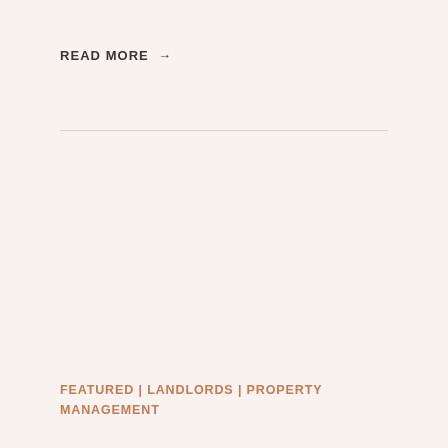READ MORE →
FEATURED | LANDLORDS | PROPERTY MANAGEMENT